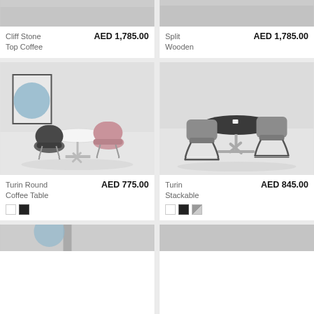[Figure (photo): Cliff Stone Top Coffee table product photo (cropped top)]
Cliff Stone Top Coffee
AED 1,785.00
[Figure (photo): Split Wooden table product photo (cropped top)]
Split Wooden
AED 1,785.00
[Figure (photo): Turin Round Coffee Table with two chairs, dark grey and pink chairs around white round table]
Turin Round Coffee Table
AED 775.00
[Figure (photo): Turin Stackable chairs around dark round table on metal base]
Turin Stackable
AED 845.00
[Figure (photo): Bottom row partial product image (cropped)]